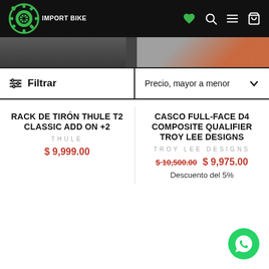[Figure (logo): Import Bike logo with green gear icon and white text on black background]
[Figure (screenshot): Filter bar with 'Filtrar' button and 'Precio, mayor a menor' dropdown]
RACK DE TIRÓN THULE T2 CLASSIC ADD ON +2
THULE
$ 9,999.00
CASCO FULL-FACE D4 COMPOSITE QUALIFIER TROY LEE DESIGNS
TROY LEE DESIGNS
$ 10,500.00  $ 9,975.00
Descuento del 5%